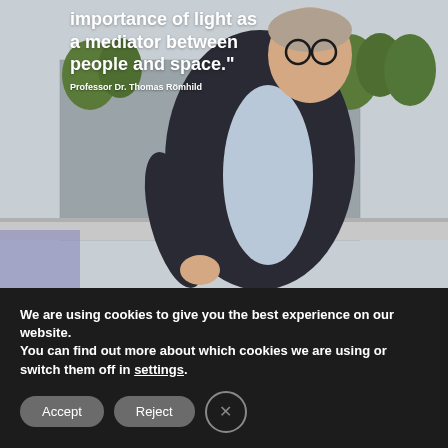[Figure (photo): Photograph of Professor Dr. Thomas Römhild, a middle-aged man with glasses and short grey hair, wearing a dark blazer over a light blue shirt, standing outdoors on a terrace or balcony with trees and a modern building facade in the background. A quote overlays the top-left of the image and his name attribution appears below the quote text.]
importance of light as a mediator between people and space."
Professor Dr. Thomas Römhild
We are using cookies to give you the best experience on our website.
You can find out more about which cookies we are using or switch them off in settings.